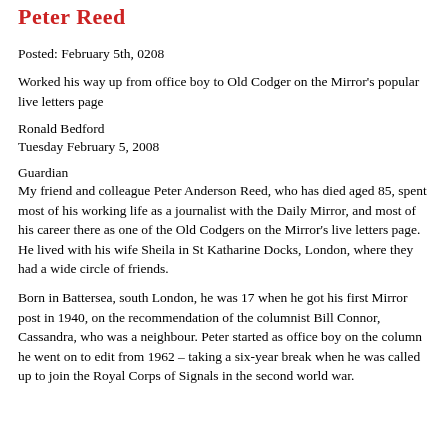Peter Reed
Posted: February 5th, 0208
Worked his way up from office boy to Old Codger on the Mirror's popular live letters page
Ronald Bedford
Tuesday February 5, 2008
Guardian
My friend and colleague Peter Anderson Reed, who has died aged 85, spent most of his working life as a journalist with the Daily Mirror, and most of his career there as one of the Old Codgers on the Mirror's live letters page. He lived with his wife Sheila in St Katharine Docks, London, where they had a wide circle of friends.
Born in Battersea, south London, he was 17 when he got his first Mirror post in 1940, on the recommendation of the columnist Bill Connor, Cassandra, who was a neighbour. Peter started as office boy on the column he went on to edit from 1962 – taking a six-year break when he was called up to join the Royal Corps of Signals in the second world war.